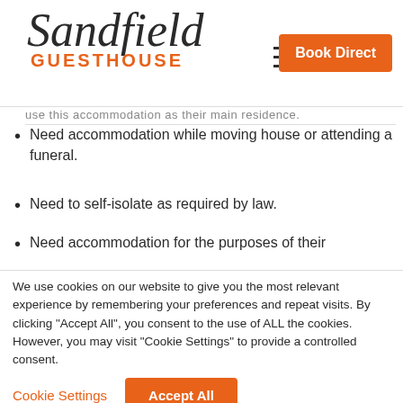[Figure (logo): Sandfield Guest House logo with cursive Sandfield text and orange GUEST HOUSE subtitle, plus Book Direct orange button and hamburger menu icon]
use this accommodation as their main residence.
Need accommodation while moving house or attending a funeral.
Need to self-isolate as required by law.
Need accommodation for the purposes of their
We use cookies on our website to give you the most relevant experience by remembering your preferences and repeat visits. By clicking "Accept All", you consent to the use of ALL the cookies. However, you may visit "Cookie Settings" to provide a controlled consent.
Cookie Settings | Accept All